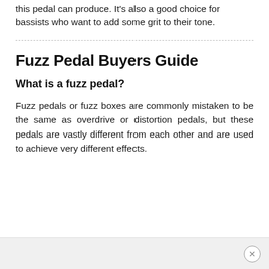this pedal can produce. It's also a good choice for bassists who want to add some grit to their tone.
Fuzz Pedal Buyers Guide
What is a fuzz pedal?
Fuzz pedals or fuzz boxes are commonly mistaken to be the same as overdrive or distortion pedals, but these pedals are vastly different from each other and are used to achieve very different effects.